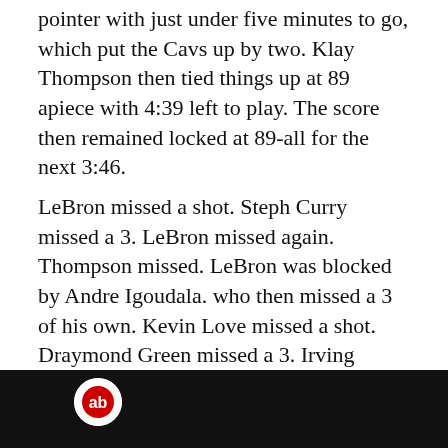pointer with just under five minutes to go, which put the Cavs up by two. Klay Thompson then tied things up at 89 apiece with 4:39 left to play. The score then remained locked at 89-all for the next 3:46.
LeBron missed a shot. Steph Curry missed a 3. LeBron missed again. Thompson missed. LeBron was blocked by Andre Igoudala. who then missed a 3 of his own. Kevin Love missed a shot. Draymond Green missed a 3. Irving missed a short shot. Curry missed another 3.
Nobody was scoring. Then, as the clock ticked under a minute, Irving broke the trend -- and the tie.
[Figure (other): Black bar at the bottom with a partial circular logo visible]